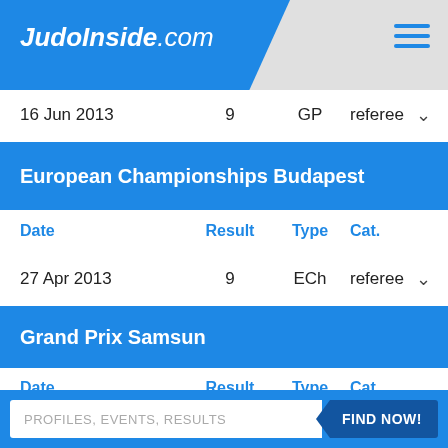JudoInside.com
| Date | Result | Type | Cat. |
| --- | --- | --- | --- |
| 16 Jun 2013 | 9 | GP | referee |
European Championships Budapest
| Date | Result | Type | Cat. |
| --- | --- | --- | --- |
| 27 Apr 2013 | 9 | ECh | referee |
Grand Prix Samsun
| Date | Result | Type | Cat. |
| --- | --- | --- | --- |
| 31 Mar 2013 | 9 | GP | referee |
PROFILES, EVENTS, RESULTS
FIND NOW!